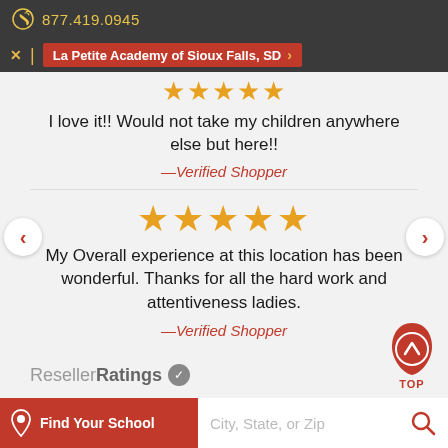877.419.0945
La Petite Academy of Sioux Falls, SD
I love it!! Would not take my children anywhere else but here!!
—Verified Shopper
My Overall experience at this location has been wonderful. Thanks for all the hard work and attentiveness ladies.
—Verified Shopper
[Figure (logo): ResellerRatings logo with verified checkmark badge]
[Figure (infographic): Drop/flame shape with chevron up arrow and TOP label]
Find Your School  City, State, or Zip